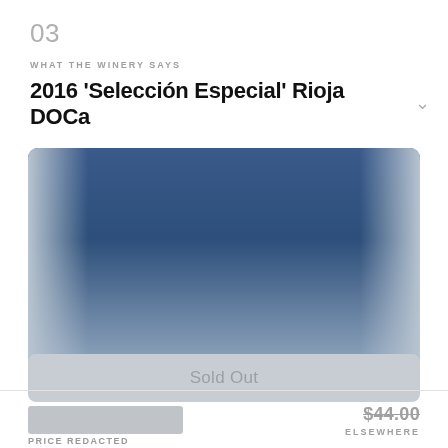03
WHAT THE WINERY SAYS
2016 'Selección Especial' Rioja DOCa
[Figure (photo): A blurred gradient image showing a dark blue to light grayish-blue gradient, resembling a wine bottle label or product photo background.]
Sold Out
PRICE REDACTED
$44.00 ELSEWHERE